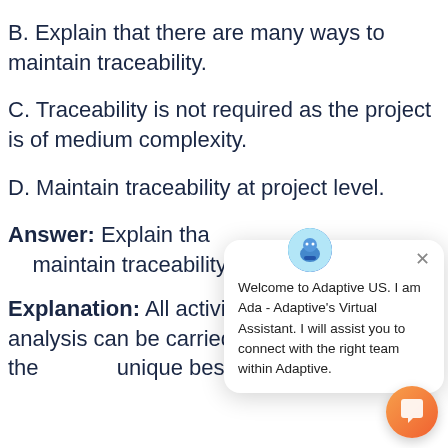B. Explain that there are many ways to maintain traceability.
C. Traceability is not required as the project is of medium complexity.
D. Maintain traceability at project level.
Answer: Explain that there are many ways to maintain traceability.
Explanation: All activities in business analysis can be carried in multiple ways and there is no unique best way.